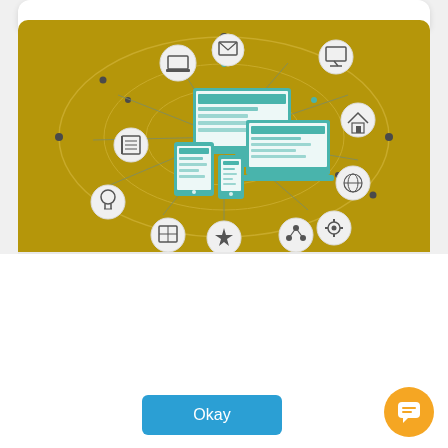[Figure (illustration): Gold/dark-yellow background illustration showing multiple devices (desktop monitor, laptop, tablet, smartphone) connected by network lines to various circular icons including laptop, email, TV, home, document, globe, settings, book, star, and share icons — representing responsive web design or digital marketing.]
We use cookies to improve site functionality and provide you with a better browsing experience on our website. Detailed information on the use of cookies on our website is provided in our privacy policy. By continuing to browse our website or clicking on "Okay", you consent to the use of cookies.